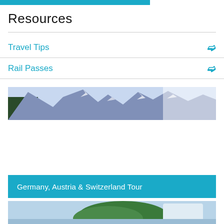[Figure (other): Blue horizontal bar at the top of the page]
Resources
Travel Tips
Rail Passes
[Figure (photo): Panoramic mountain landscape with snow-capped peaks and forest]
Germany, Austria & Switzerland Tour
[Figure (photo): Aerial or scenic photo partially visible at bottom of page]